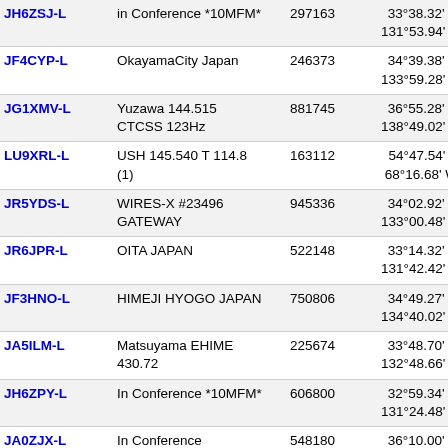| Callsign | Description | ID | Location | Grid | ? |
| --- | --- | --- | --- | --- | --- |
| JH6ZSJ-L | in Conference *10MFM* | 297163 | 33°38.32' N 131°53.94' E | PM53wp | 70 |
| JF4CYP-L | OkayamaCity Japan | 246373 | 34°39.38' N 133°59.28' E | PM64xp | 71 |
| JG1XMV-L | Yuzawa 144.515 CTCSS 123Hz | 881745 | 36°55.28' N 138°49.02' E | PM96jw | 71 |
| LU9XRL-L | USH 145.540 T 114.8 (1) | 163112 | 54°47.54' S 68°16.68' W | FD55ue | 71 |
| JR5YDS-L | WIRES-X #23496 GATEWAY | 945336 | 34°02.92' N 133°00.48' E | PM64mb | 71 |
| JR6JPR-L | OITA JAPAN | 522148 | 33°14.32' N 131°42.42' E | PM53uf | 71 |
| JF3HNO-L | HIMEJI HYOGO JAPAN | 750806 | 34°49.27' N 134°40.02' E | PM74it | 71 |
| JA5ILM-L | Matsuyama EHIME 430.72 | 225674 | 33°48.70' N 132°48.66' E | PM63jt | 71 |
| JH6ZPY-L | In Conference *10MFM* | 606800 | 32°59.34' N 131°24.48' E | PM52qx | 71 |
| JA0ZJX-L | In Conference *NAGANO* | 548180 | 36°10.00' N 137°58.02' E | PM86xe | 71 |
| JR5CFK-L | Kagawa JAPAN | 339305 | 34°17.01' N 134°08.22' E | PM74bg | 71 |
| JR0IVN-L | In Conference *NAGANO* | 56765 | 36°04.25' N 138°02.34' E | PM96ab | 71 |
| JN2ESN-L | WIRES-X FMmizuho GW | 322262 | 35°24.30' N 136°40.20' E | PM85ij | 71 |
| JG0BGW-L | OKAYA-CITY NAGANO | 353660 | 36°01.00' N | PM96aa | 71 |